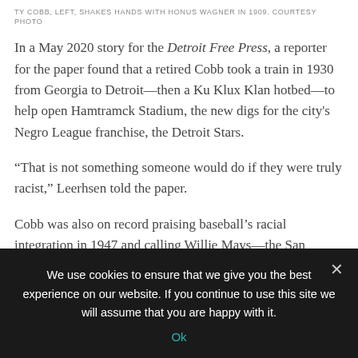TY COBB, LEFT, SHAKES HANDS WITH HONUS WAGNER IN 1909. COURTESY PHOTO
In a May 2020 story for the Detroit Free Press, a reporter for the paper found that a retired Cobb took a train in 1930 from Georgia to Detroit—then a Ku Klux Klan hotbed—to help open Hamtramck Stadium, the new digs for the city's Negro League franchise, the Detroit Stars.
“That is not something someone would do if they were truly racist,” Leerhsen told the paper.
Cobb was also on record praising baseball’s racial integration in 1947 and calling Willie Mays—the San Francisco Giants’ centerfielder and the only man at that position whom baseball
We use cookies to ensure that we give you the best experience on our website. If you continue to use this site we will assume that you are happy with it.
Ok